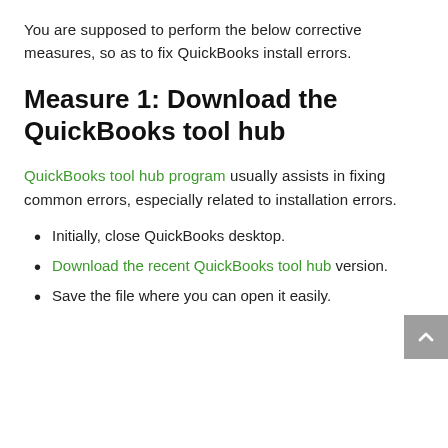You are supposed to perform the below corrective measures, so as to fix QuickBooks install errors.
Measure 1: Download the QuickBooks tool hub
QuickBooks tool hub program usually assists in fixing common errors, especially related to installation errors.
Initially, close QuickBooks desktop.
Download the recent QuickBooks tool hub version.
Save the file where you can open it easily.